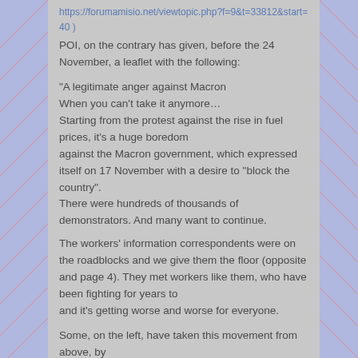https://forumamisio.net/viewtopic.php?f=9&t=33812&start=40 )
POI, on the contrary has given, before the 24 November, a leaflet with the following:
“A legitimate anger against Macron
When you can’t take it anymore…
Starting from the protest against the rise in fuel prices, it’s a huge boredom
against the Macron government, which expressed itself on 17 November with a desire to “block the
country”.
There were hundreds of thousands of demonstrators. And many want to continue.
The workers’ information correspondents were on the roadblocks and we give them the floor (opposite and page 4). They met workers like them, who have been fighting for years to
and it’s getting worse and worse for everyone.
Some, on the left, have taken this movement from above, by